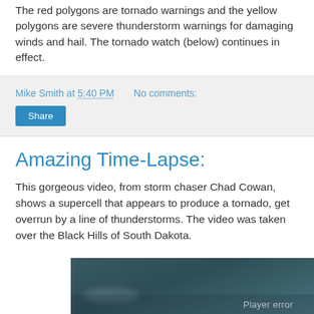The red polygons are tornado warnings and the yellow polygons are severe thunderstorm warnings for damaging winds and hail. The tornado watch (below) continues in effect.
Mike Smith at 5:40 PM   No comments:
Share
Amazing Time-Lapse:
This gorgeous video, from storm chaser Chad Cowan, shows a supercell that appears to produce a tornado, get overrun by a line of thunderstorms. The video was taken over the Black Hills of South Dakota.
[Figure (screenshot): Video player showing dark stormy sky over Black Hills of South Dakota, with a 'Player error' message overlay.]